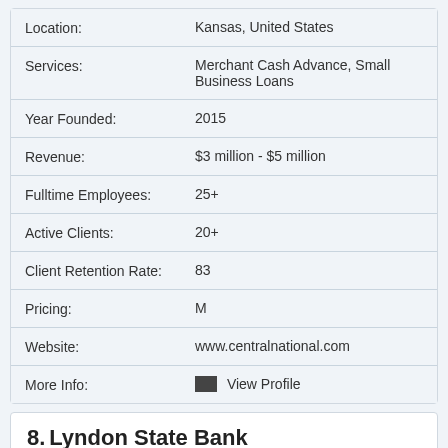| Field | Value |
| --- | --- |
| Location: | Kansas, United States |
| Services: | Merchant Cash Advance, Small Business Loans |
| Year Founded: | 2015 |
| Revenue: | $3 million - $5 million |
| Fulltime Employees: | 25+ |
| Active Clients: | 20+ |
| Client Retention Rate: | 83 |
| Pricing: | M |
| Website: | www.centralnational.com |
| More Info: | View Profile |
8. Lyndon State Bank